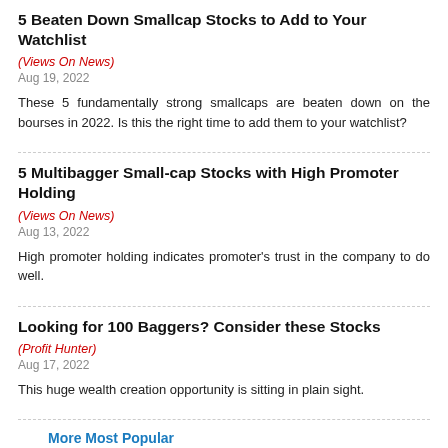5 Beaten Down Smallcap Stocks to Add to Your Watchlist
(Views On News)
Aug 19, 2022
These 5 fundamentally strong smallcaps are beaten down on the bourses in 2022. Is this the right time to add them to your watchlist?
5 Multibagger Small-cap Stocks with High Promoter Holding
(Views On News)
Aug 13, 2022
High promoter holding indicates promoter's trust in the company to do well.
Looking for 100 Baggers? Consider these Stocks
(Profit Hunter)
Aug 17, 2022
This huge wealth creation opportunity is sitting in plain sight.
More Most Popular